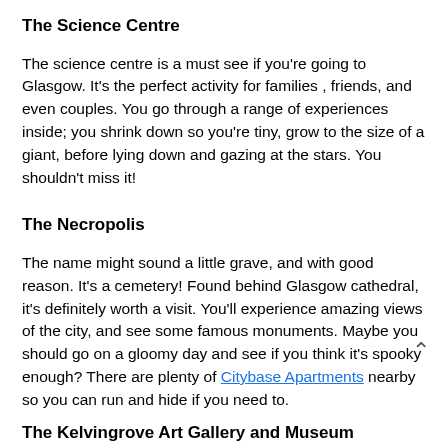The Science Centre
The science centre is a must see if you're going to Glasgow. It's the perfect activity for families , friends, and even couples. You go through a range of experiences inside; you shrink down so you're tiny, grow to the size of a giant, before lying down and gazing at the stars. You shouldn't miss it!
The Necropolis
The name might sound a little grave, and with good reason. It's a cemetery! Found behind Glasgow cathedral, it's definitely worth a visit. You'll experience amazing views of the city, and see some famous monuments. Maybe you should go on a gloomy day and see if you think it's spooky enough? There are plenty of Citybase Apartments nearby so you can run and hide if you need to.
The Kelvingrove Art Gallery and Museum
This place is unmissable; it's a beautiful 19th century building that includes art from renown places around the